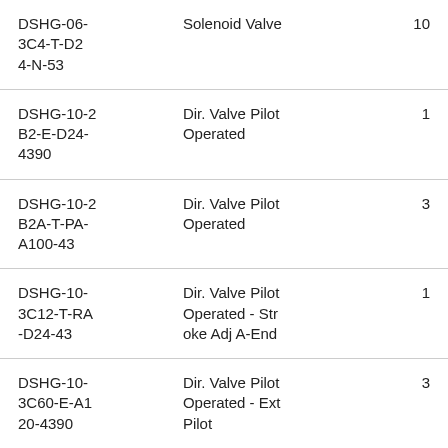| Part Number | Description | Qty |
| --- | --- | --- |
| DSHG-06-3C4-T-D24-N-53 | Solenoid Valve | 10 |
| DSHG-10-2B2-E-D24-4390 | Dir. Valve Pilot Operated | 1 |
| DSHG-10-2B2A-T-PA-A100-43 | Dir. Valve Pilot Operated | 3 |
| DSHG-10-3C12-T-RA-D24-43 | Dir. Valve Pilot Operated - Stroke Adj A-End | 1 |
| DSHG-10-3C60-E-A120-4390 | Dir. Valve Pilot Operated - Ext Pilot | 3 |
| DSLHG-04-1-A100-N | Multipurpose Control Dir Valve | 1 |